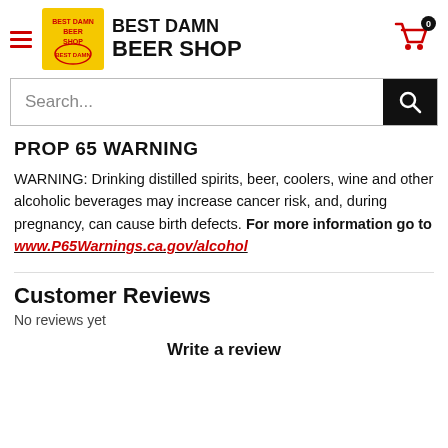[Figure (logo): Best Damn Beer Shop logo with yellow badge and bold text]
Search...
PROP 65 WARNING
WARNING: Drinking distilled spirits, beer, coolers, wine and other alcoholic beverages may increase cancer risk, and, during pregnancy, can cause birth defects. For more information go to www.P65Warnings.ca.gov/alcohol
Customer Reviews
No reviews yet
Write a review